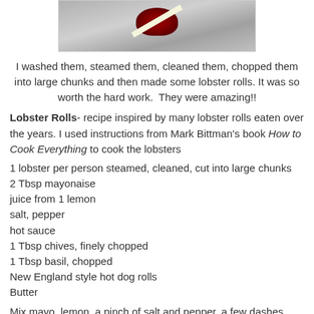[Figure (photo): Photo of cooked lobster(s) on a grey/carpet surface, partially cropped at top]
I washed them, steamed them, cleaned them, chopped them into large chunks and then made some lobster rolls. It was so worth the hard work.  They were amazing!!
Lobster Rolls- recipe inspired by many lobster rolls eaten over the years. I used instructions from Mark Bittman's book How to Cook Everything to cook the lobsters
1 lobster per person steamed, cleaned, cut into large chunks
2 Tbsp mayonaise
juice from 1 lemon
salt, pepper
hot sauce
1 Tbsp chives, finely chopped
1 Tbsp basil, chopped
New England style hot dog rolls
Butter
Mix mayo, lemon, a pinch of salt and pepper, a few dashes